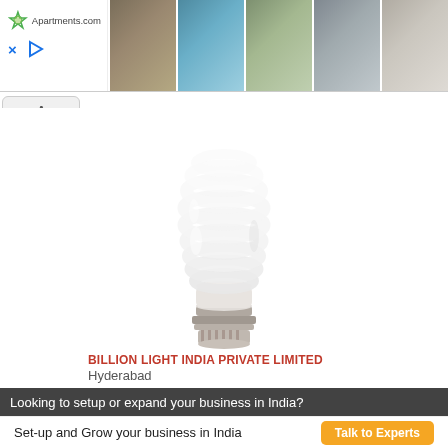[Figure (screenshot): Apartments.com advertisement banner with logo on left and multiple apartment/pool/bedroom photos on right, with X and play controls]
[Figure (photo): CFL spiral energy-saving light bulb with bayonet base, on white background]
BILLION LIGHT INDIA PRIVATE LIMITED
Hyderabad
Looking to setup or expand your business in India?
Set-up and Grow your business in India  Talk to Experts